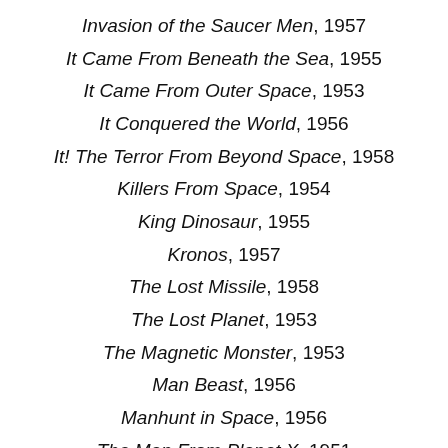Invasion of the Saucer Men, 1957
It Came From Beneath the Sea, 1955
It Came From Outer Space, 1953
It Conquered the World, 1956
It! The Terror From Beyond Space, 1958
Killers From Space, 1954
King Dinosaur, 1955
Kronos, 1957
The Lost Missile, 1958
The Lost Planet, 1953
The Magnetic Monster, 1953
Man Beast, 1956
Manhunt in Space, 1956
The Man From Planet X, 1951
Menace From Outer Space, 1956